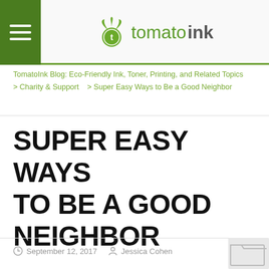tomatoink
TomatoInk Blog: Eco-Friendly Ink, Toner, Printing, and Related Topics
> Charity & Support    > Super Easy Ways to Be a Good Neighbor
SUPER EASY WAYS TO BE A GOOD NEIGHBOR
September 12, 2017   Jessica Cohen